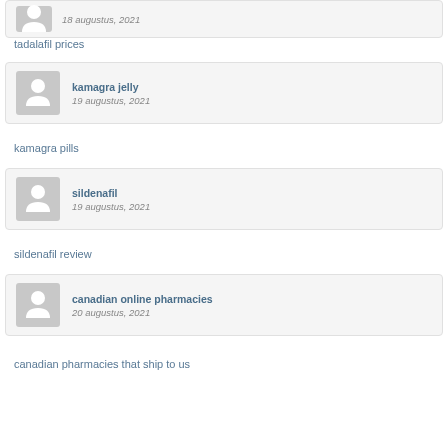[Figure (other): Partial comment card at top showing avatar and date 18 augustus, 2021]
tadalafil prices
[Figure (other): Comment card: kamagra jelly, 19 augustus, 2021]
kamagra pills
[Figure (other): Comment card: sildenafil, 19 augustus, 2021]
sildenafil review
[Figure (other): Comment card: canadian online pharmacies, 20 augustus, 2021]
canadian pharmacies that ship to us